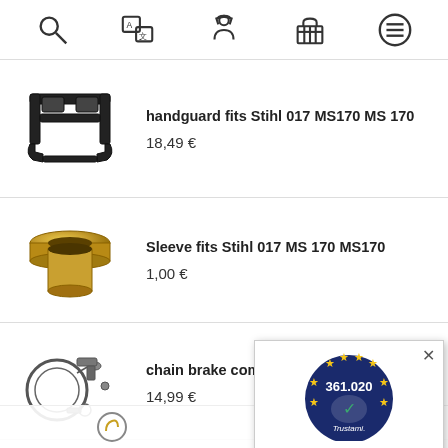[Figure (screenshot): Navigation bar with icons: search, translate/language, person/worker, shopping basket, menu]
[Figure (photo): Black plastic chainsaw handguard part]
handguard fits Stihl 017 MS170 MS 170
18,49 €
[Figure (photo): Brass cylindrical sleeve/bushing part]
Sleeve fits Stihl 017 MS 170 MS170
1,00 €
[Figure (photo): Chain brake complete kit parts for MS170]
chain brake complete k... MS170
14,99 €
[Figure (infographic): Trustami badge popup showing 361.020 reviews, Ausgezeichnet rating, 5.00/5.00 stars, note about 2 Verkaufs- und 2 Bewertungsplattformen]